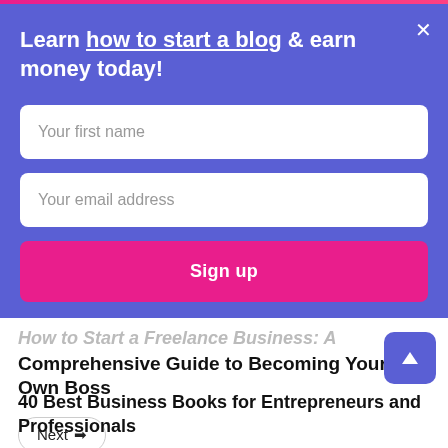Learn how to start a blog & earn money today!
Your first name
Your email address
Sign up
How to Start a Freelance Business: A Comprehensive Guide to Becoming Your Own Boss
Next →
40 Best Business Books for Entrepreneurs and Professionals